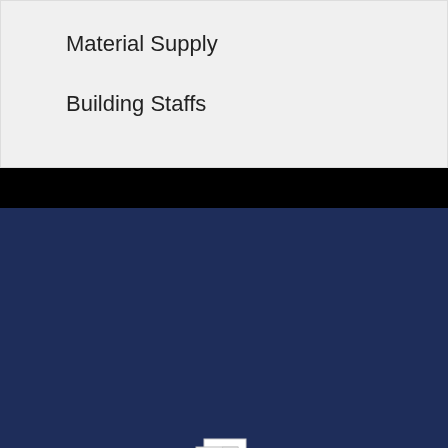Material Supply
Building Staffs
[Figure (screenshot): Dark blue background section with a PDF file icon at the top center, below which are two thumbnail previews: a gold gradient thumbnail on the left with a blue chat bubble icon, and a black thumbnail on the right with a gold decorative line and WhatsApp icon]